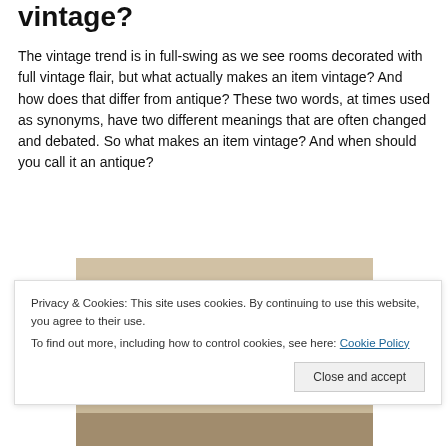Vintage?
The vintage trend is in full-swing as we see rooms decorated with full vintage flair, but what actually makes an item vintage? And how does that differ from antique? These two words, at times used as synonyms, have two different meanings that are often changed and debated. So what makes an item vintage? And when should you call it an antique?
[Figure (photo): Photograph of vintage wooden clock or decorative wooden objects, partially visible, warm tones.]
Privacy & Cookies: This site uses cookies. By continuing to use this website, you agree to their use.
To find out more, including how to control cookies, see here: Cookie Policy